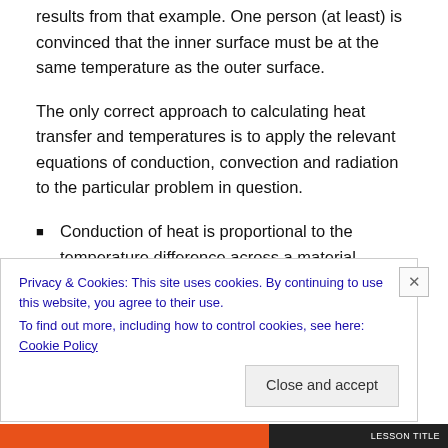results from that example. One person (at least) is convinced that the inner surface must be at the same temperature as the outer surface.
The only correct approach to calculating heat transfer and temperatures is to apply the relevant equations of conduction, convection and radiation to the particular problem in question.
Conduction of heat is proportional to the temperature difference across a material
Radiation of heat is proportional to the 4th power of
Privacy & Cookies: This site uses cookies. By continuing to use this website, you agree to their use.
To find out more, including how to control cookies, see here: Cookie Policy